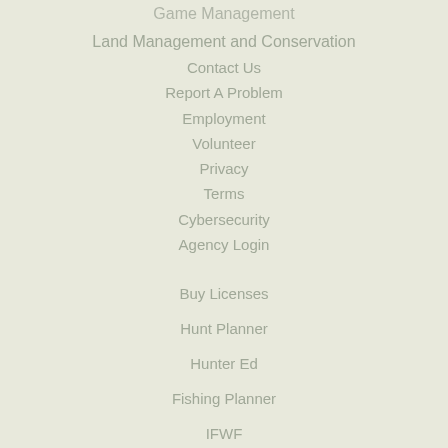Game Management
Land Management and Conservation
Contact Us
Report A Problem
Employment
Volunteer
Privacy
Terms
Cybersecurity
Agency Login
Buy Licenses
Hunt Planner
Hunter Ed
Fishing Planner
IFWF